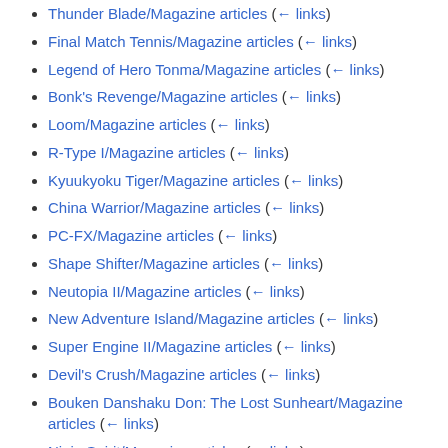Thunder Blade/Magazine articles  (← links)
Final Match Tennis/Magazine articles  (← links)
Legend of Hero Tonma/Magazine articles  (← links)
Bonk's Revenge/Magazine articles  (← links)
Loom/Magazine articles  (← links)
R-Type I/Magazine articles  (← links)
Kyuukyoku Tiger/Magazine articles  (← links)
China Warrior/Magazine articles  (← links)
PC-FX/Magazine articles  (← links)
Shape Shifter/Magazine articles  (← links)
Neutopia II/Magazine articles  (← links)
New Adventure Island/Magazine articles  (← links)
Super Engine II/Magazine articles  (← links)
Devil's Crush/Magazine articles  (← links)
Bouken Danshaku Don: The Lost Sunheart/Magazine articles  (← links)
Ninja Spirit/Magazine articles  (← links)
Parasol Stars/Magazine articles  (← links)